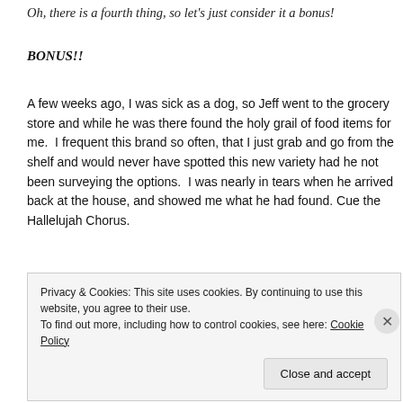Oh, there is a fourth thing, so let's just consider it a bonus!
BONUS!!
A few weeks ago, I was sick as a dog, so Jeff went to the grocery store and while he was there found the holy grail of food items for me.  I frequent this brand so often, that I just grab and go from the shelf and would never have spotted this new variety had he not been surveying the options.  I was nearly in tears when he arrived back at the house, and showed me what he had found. Cue the Hallelujah Chorus.
Privacy & Cookies: This site uses cookies. By continuing to use this website, you agree to their use.
To find out more, including how to control cookies, see here: Cookie Policy
Close and accept